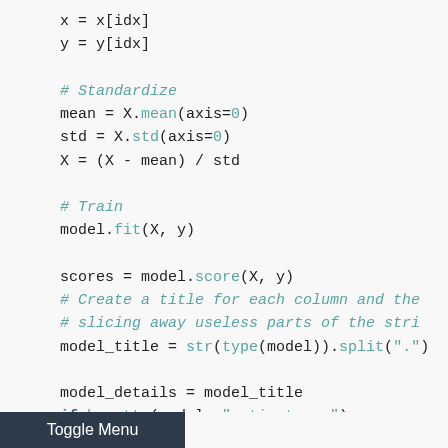Code snippet showing Python machine learning code: y = y[idx], standardize block, train block, scores = model.score(X, y), create title comments, model_title assignment, model_details block, print statement, plt.subplot call, plot_idx condition, and Add a title comment.
Toggle Menu